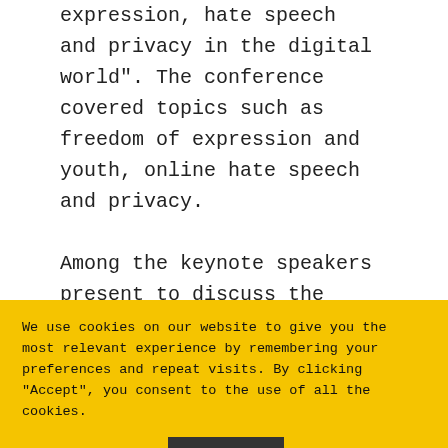expression, hate speech and privacy in the digital world". The conference covered topics such as freedom of expression and youth, online hate speech and privacy.
Among the keynote speakers present to discuss the importance of human rights: H.E. Ms. Laurence Auer,
We use cookies on our website to give you the most relevant experience by remembering your preferences and repeat visits. By clicking “Accept”, you consent to the use of all the cookies.
Cookie settings
ACCEPT